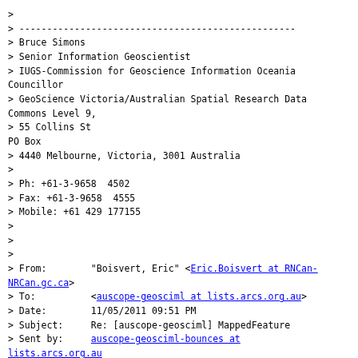> 
> --------------------------------------------------
> Bruce Simons
> Senior Information Geoscientist
> IUGS-Commission for Geoscience Information Oceania Councillor
> GeoScience Victoria/Australian Spatial Research Data Commons Level 9,
> 55 Collins St
PO Box
> 4440 Melbourne, Victoria, 3001 Australia
>
> Ph: +61-3-9658 4502
> Fax: +61-3-9658 4555
> Mobile: +61 429 177155
>
>
>
> From:        "Boisvert, Eric" <Eric.Boisvert at RNCan-NRCan.gc.ca>
> To:          <auscope-geosciml at lists.arcs.org.au>
> Date:        11/05/2011 09:51 PM
> Subject:     Re: [auscope-geosciml] MappedFeature
> Sent by:     auscope-geosciml-bounces at lists.arcs.org.au
>
> ____________________________
>
>
>